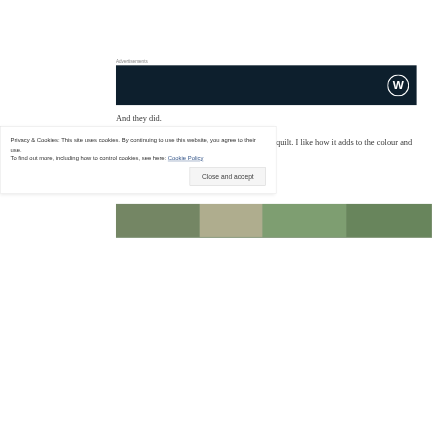Advertisements
[Figure (other): WordPress advertisement banner — dark navy background with WordPress logo (W in circle) at right]
And they did.
I was soon the proud owner of a locally crafted quilt. I like how it adds to the colour and comfort of my quiet, humble home.
[Figure (photo): Partial photo strip visible at bottom of page showing outdoor/nature scene]
Privacy & Cookies: This site uses cookies. By continuing to use this website, you agree to their use.
To find out more, including how to control cookies, see here: Cookie Policy
Close and accept